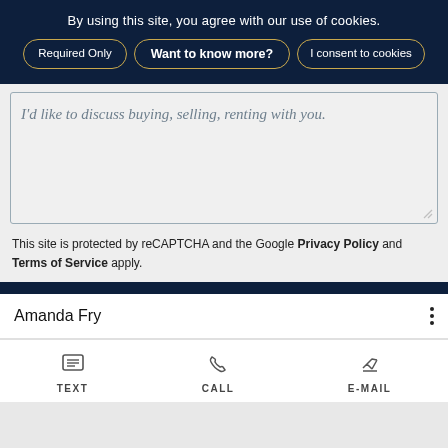By using this site, you agree with our use of cookies.
Required Only
Want to know more?
I consent to cookies
I'd like to discuss buying, selling, renting with you.
This site is protected by reCAPTCHA and the Google Privacy Policy and Terms of Service apply.
Amanda Fry
TEXT
CALL
E-MAIL